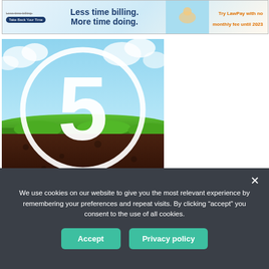[Figure (illustration): Banner advertisement: 'Less time billing. More time doing.' with LawPay branding, 'Take Back Your Time' button on left, illustrated figure on right, and orange text 'Try LawPay with no monthly fee until 2023']
[Figure (illustration): Illustration showing a grassy outdoor scene with sky and soil cross-section. A large white circle contains a bold white number '5' in the center.]
We use cookies on our website to give you the most relevant experience by remembering your preferences and repeat visits. By clicking “accept” you consent to the use of all cookies.
Accept
Privacy policy